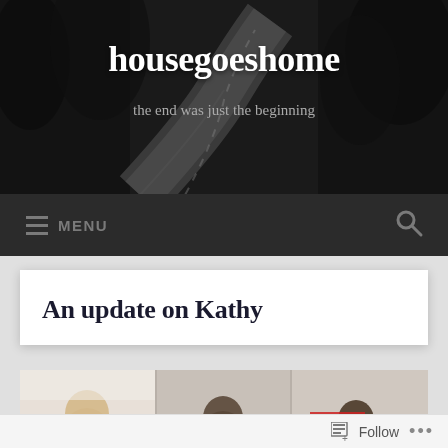housegoeshome — the end was just the beginning
[Figure (screenshot): Blog header with dark background showing a winding road through trees, site title 'housegoeshome' and tagline 'the end was just the beginning']
≡ MENU
An update on Kathy
[Figure (photo): Photo strip showing three people, partially visible, cropped at bottom]
Follow ...